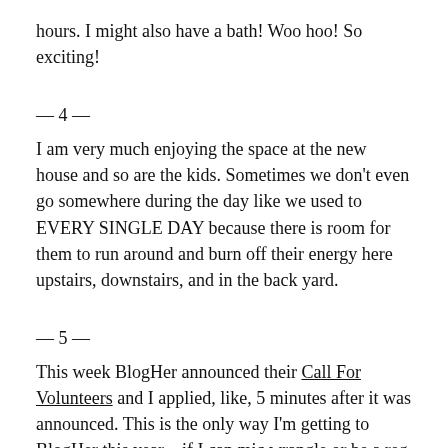hours. I might also have a bath! Woo hoo! So exciting!
— 4 —
I am very much enjoying the space at the new house and so are the kids. Sometimes we don't even go somewhere during the day like we used to EVERY SINGLE DAY because there is room for them to run around and burn off their energy here upstairs, downstairs, and in the back yard.
— 5 —
This week BlogHer announced their Call For Volunteers and I applied, like, 5 minutes after it was announced. This is the only way I'm getting to BlogHer this year – if I can mic wrangle or be a reg desk or liveblogger volunteer. No way can I pay for it, and since my part-time job is gone, they won't be paying like they did last year, either. Now, who